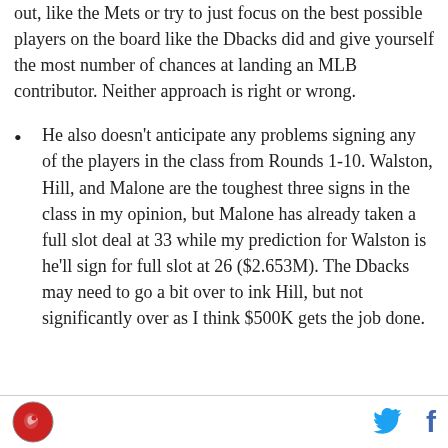out, like the Mets or try to just focus on the best possible players on the board like the Dbacks did and give yourself the most number of chances at landing an MLB contributor. Neither approach is right or wrong.
He also doesn't anticipate any problems signing any of the players in the class from Rounds 1-10. Walston, Hill, and Malone are the toughest three signs in the class in my opinion, but Malone has already taken a full slot deal at 33 while my prediction for Walston is he'll sign for full slot at 26 ($2.653M). The Dbacks may need to go a bit over to ink Hill, but not significantly over as I think $500K gets the job done.
Logo and social icons